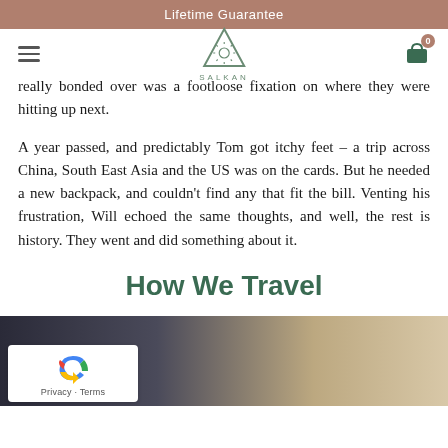Lifetime Guarantee
[Figure (logo): Salkan brand logo — triangle with sun/rays inside, text SALKAN below]
really bonded over was a footloose fixation on where they were hitting up next.
A year passed, and predictably Tom got itchy feet – a trip across China, South East Asia and the US was on the cards. But he needed a new backpack, and couldn't find any that fit the bill. Venting his frustration, Will echoed the same thoughts, and well, the rest is history. They went and did something about it.
How We Travel
[Figure (photo): Close-up photo of dark fabric/backpack material with blurred light background]
[Figure (other): reCAPTCHA badge with Privacy and Terms links]